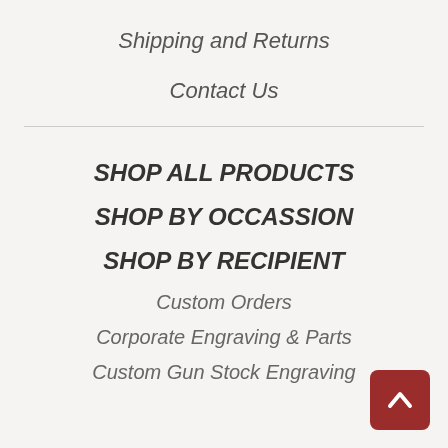Shipping and Returns
Contact Us
SHOP ALL PRODUCTS
SHOP BY OCCASSION
SHOP BY RECIPIENT
Custom Orders
Corporate Engraving & Parts
Custom Gun Stock Engraving